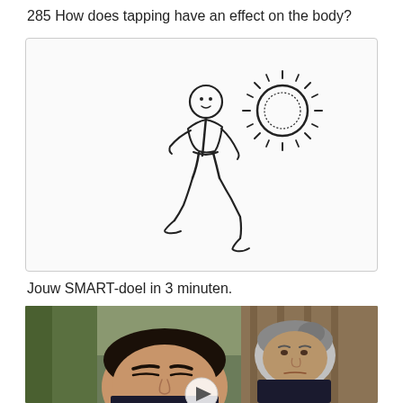285 How does tapping have an effect on the body?
[Figure (illustration): Hand-drawn sketch of a person running with a hand-drawn sun in the upper right corner]
Jouw SMART-doel in 3 minuten.
[Figure (photo): Photo of two people outdoors, a young man in the foreground appearing distressed and an older woman behind him, with a play button overlay indicating a video]